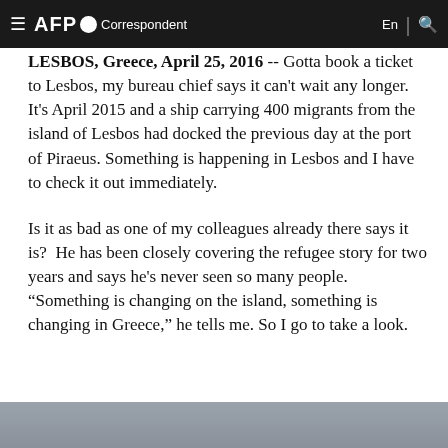AFP Correspondent  En
LESBOS, Greece, April 25, 2016 -- Gotta book a ticket to Lesbos, my bureau chief says it can't wait any longer. It's April 2015 and a ship carrying 400 migrants from the island of Lesbos had docked the previous day at the port of Piraeus. Something is happening in Lesbos and I have to check it out immediately.
Is it as bad as one of my colleagues already there says it is?  He has been closely covering the refugee story for two years and says he's never seen so many people. “Something is changing on the island, something is changing in Greece,” he tells me. So I go to take a look.